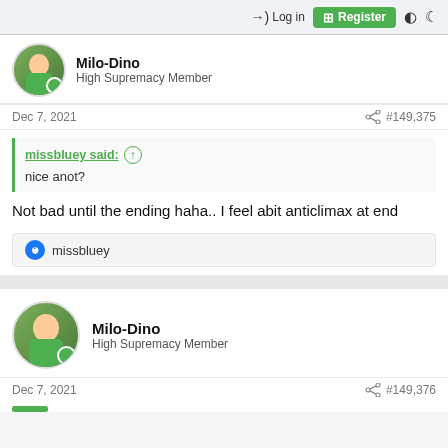Login  Register
Milo-Dino
High Supremacy Member
Dec 7, 2021  #149,375
missbluey said:
nice anot?
Not bad until the ending haha.. I feel abit anticlimax at end
missbluey
Milo-Dino
High Supremacy Member
Dec 7, 2021  #149,376